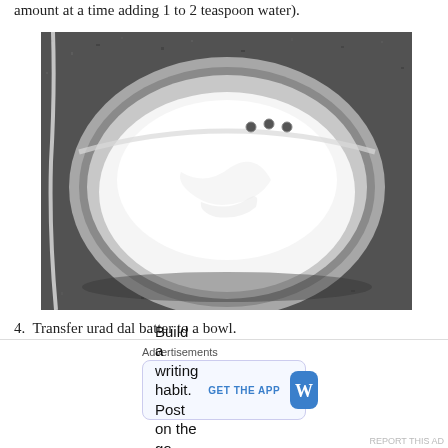3. Grind to a fine paste adding very little water( Grind small amount at a time adding 1 to 2 teaspoon water).
[Figure (photo): Top-down view of a metal bowl containing white fluffy ground urad dal batter, placed on a dark granite surface. A white cable is visible on the left.]
4. Transfer urad dal batter to a bowl.
5. Grind green chili,ginger coarsely.(Do not grind green chilli along with urad dal batter as it will make the batter green. Grind